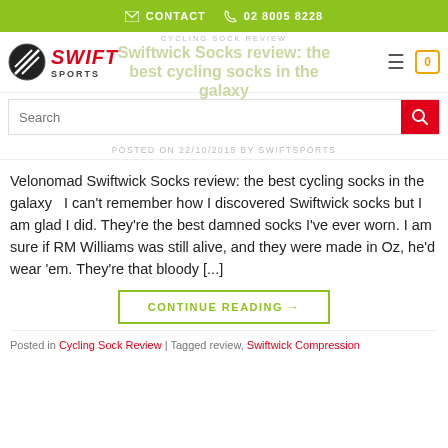✉ CONTACT  📞 02 8005 8228
[Figure (logo): Swift Sports logo with circular emblem and red SWIFT SPORTS text]
CYCLING SOCK REVIEW
Swiftwick Socks review: the best cycling socks in the galaxy
Search
POSTED ON 22/10/2015 BY SWIFTSPORTS
Velonomad Swiftwick Socks review: the best cycling socks in the galaxy   I can't remember how I discovered Swiftwick socks but I am glad I did. They're the best damned socks I've ever worn. I am sure if RM Williams was still alive, and they were made in Oz, he'd wear 'em. They're that bloody [...]
CONTINUE READING →
Posted in Cycling Sock Review | Tagged review, Swiftwick Compression